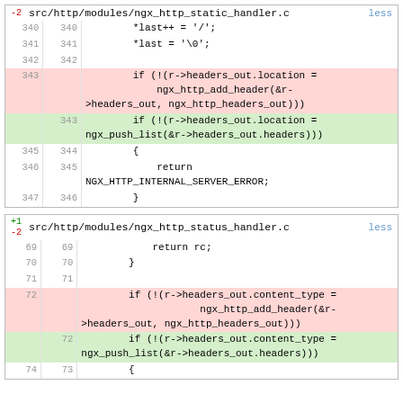[Figure (screenshot): Code diff view for src/http/modules/ngx_http_static_handler.c showing lines 340-347 with removed lines 343-344 (red, using ngx_http_add_header) and added line 343 (green, using ngx_push_list)]
[Figure (screenshot): Code diff view for src/http/modules/ngx_http_status_handler.c showing lines 69-74 with removed lines 72-73 (red, using ngx_http_add_header) and added line 72 (green, using ngx_push_list)]